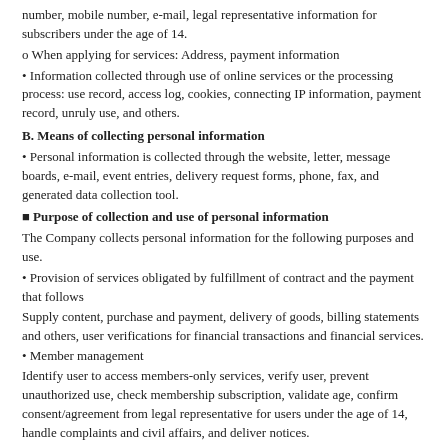number, mobile number, e-mail, legal representative information for subscribers under the age of 14.
o When applying for services: Address, payment information
• Information collected through use of online services or the processing process: use record, access log, cookies, connecting IP information, payment record, unruly use, and others.
B. Means of collecting personal information
• Personal information is collected through the website, letter, message boards, e-mail, event entries, delivery request forms, phone, fax, and generated data collection tool.
■ Purpose of collection and use of personal information
The Company collects personal information for the following purposes and use.
• Provision of services obligated by fulfillment of contract and the payment that follows
Supply content, purchase and payment, delivery of goods, billing statements and others, user verifications for financial transactions and financial services.
• Member management
Identify user to access members-only services, verify user, prevent unauthorized use, check membership subscription, validate age, confirm consent/agreement from legal representative for users under the age of 14, handle complaints and civil affairs, and deliver notices.
• Marketing and promotional use
Delivery of events and unsolicited advertisements; gain a statistical understanding of the members' frequency of access to and use of site.
■ Period of possession and utilization of personal information
As a general rule, once the personal data has fulfilled the purposes for which they were collected, they are to be immediately discarded. Except for the following that will be retained for certain periods for reasons noted below.
A. Information held according to the Company's internal policies
Even when a member has canceled his/her membership, the member's personal information may be retained for (8) years from the date of cancelation in order to resolve future